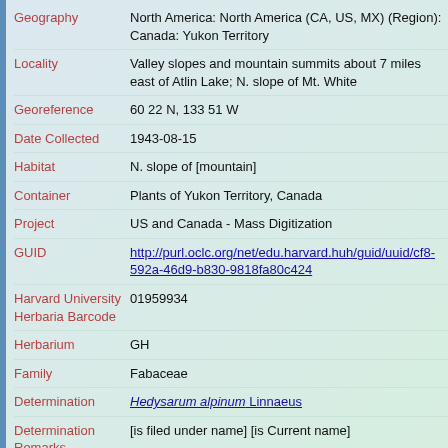| Field | Value |
| --- | --- |
| Geography | North America: North America (CA, US, MX) (Region): Canada: Yukon Territory |
| Locality | Valley slopes and mountain summits about 7 miles east of Atlin Lake; N. slope of Mt. White |
| Georeference | 60 22 N, 133 51 W |
| Date Collected | 1943-08-15 |
| Habitat | N. slope of [mountain] |
| Container | Plants of Yukon Territory, Canada |
| Project | US and Canada - Mass Digitization |
| GUID | http://purl.oclc.org/net/edu.harvard.huh/guid/uuid/cf8...592a-46d9-b830-9818fa80c424 |
| Harvard University Herbaria Barcode | 01959934 |
| Herbarium | GH |
| Family | Fabaceae |
| Determination | Hedysarum alpinum Linnaeus |
| Determination Remarks | [is filed under name] [is Current name] |
| Sex | not determined |